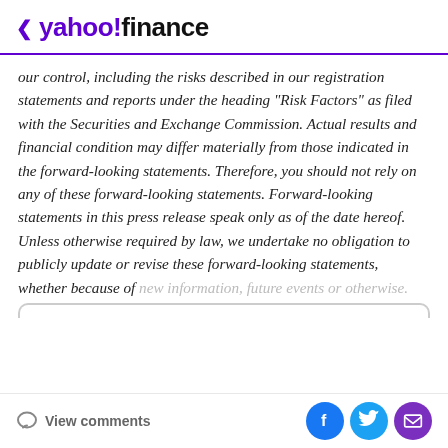< yahoo!finance
our control, including the risks described in our registration statements and reports under the heading "Risk Factors" as filed with the Securities and Exchange Commission. Actual results and financial condition may differ materially from those indicated in the forward-looking statements. Therefore, you should not rely on any of these forward-looking statements. Forward-looking statements in this press release speak only as of the date hereof. Unless otherwise required by law, we undertake no obligation to publicly update or revise these forward-looking statements, whether because of new information, future events or otherwise.
View comments